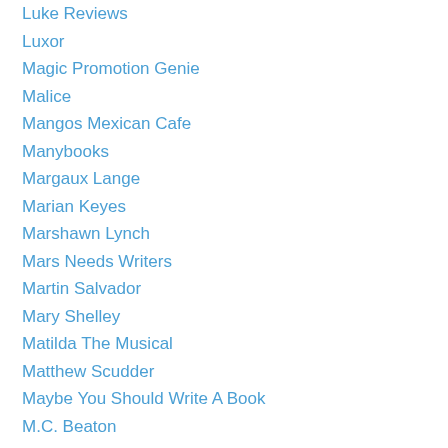Luke Reviews
Luxor
Magic Promotion Genie
Malice
Mangos Mexican Cafe
Manybooks
Margaux Lange
Marian Keyes
Marshawn Lynch
Mars Needs Writers
Martin Salvador
Mary Shelley
Matilda The Musical
Matthew Scudder
Maybe You Should Write A Book
M.C. Beaton
Media Bistro
Meira Pentermann
Melbourne Ska Orchestra
"Men's Stride Over The Calf Ultra-Lightweight Running Sock"
Merri Hiatt